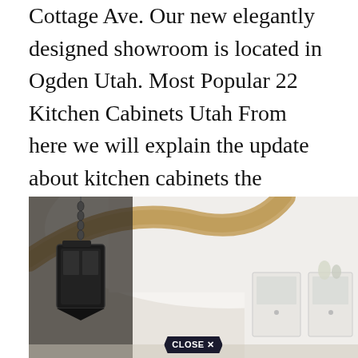Cottage Ave. Our new elegantly designed showroom is located in Ogden Utah. Most Popular 22 Kitchen Cabinets Utah From here we will explain the update about kitchen cabinets the current and popular trends.
[Figure (photo): Interior photo of a kitchen/entryway showing a hanging black lantern pendant light, wooden beam arch, white cabinetry in the background, and a 'CLOSE X' button overlay at the bottom center.]